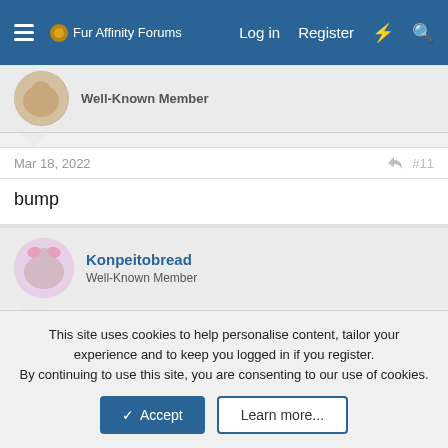Fur Affinity Forums  Log in  Register
Well-Known Member
Mar 18, 2022  #11
bump
Konpeitobread
Well-Known Member
Mar 19, 2022  #12
bump
Konpeitobread
This site uses cookies to help personalise content, tailor your experience and to keep you logged in if you register.
By continuing to use this site, you are consenting to our use of cookies.